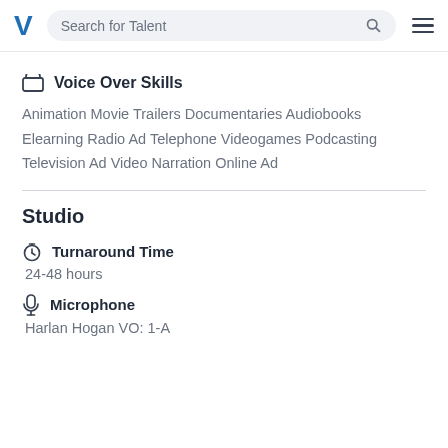Search for Talent
Voice Over Skills
Animation Movie Trailers Documentaries Audiobooks Elearning Radio Ad Telephone Videogames Podcasting Television Ad Video Narration Online Ad
Studio
Turnaround Time
24-48 hours
Microphone
Harlan Hogan VO: 1-A